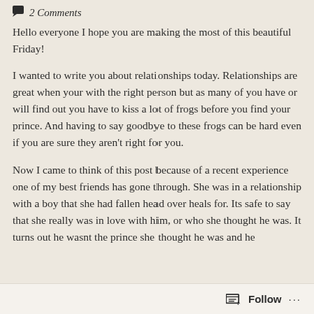2 Comments
Hello everyone I hope you are making the most of this beautiful Friday!
I wanted to write you about relationships today. Relationships are great when your with the right person but as many of you have or will find out you have to kiss a lot of frogs before you find your prince. And having to say goodbye to these frogs can be hard even if you are sure they aren't right for you.
Now I came to think of this post because of a recent experience one of my best friends has gone through. She was in a relationship with a boy that she had fallen head over heals for. Its safe to say that she really was in love with him, or who she thought he was. It turns out he wasnt the prince she thought he was and he
Follow ...